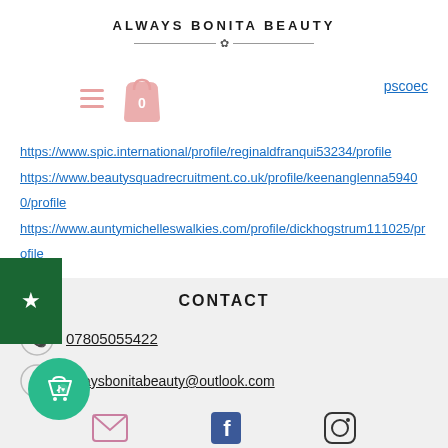ALWAYS BONITA BEAUTY
[Figure (screenshot): Website screenshot showing hamburger menu icon, shopping bag cart icon with 0 badge, and partial link text 'pscoec']
https://www.spic.international/profile/reginaldfranqui53234/profile https://www.beautysquadrecruitment.co.uk/profile/keenanglenna59400/profile https://www.auntymichelleswalkies.com/profile/dickhogstrum111025/profile
CONTACT
07805055422
alwaysbonitabeauty@outlook.com
[Figure (screenshot): Social media icons: email (envelope), Facebook, Instagram at the bottom]